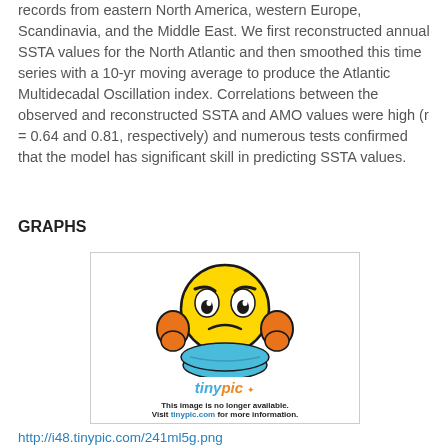records from eastern North America, western Europe, Scandinavia, and the Middle East. We first reconstructed annual SSTA values for the North Atlantic and then smoothed this time series with a 10-yr moving average to produce the Atlantic Multidecadal Oscillation index. Correlations between the observed and reconstructed SSTA and AMO values were high (r = 0.64 and 0.81, respectively) and numerous tests confirmed that the model has significant skill in predicting SSTA values.
GRAPHS
[Figure (illustration): A tinypic.com placeholder image showing a cartoon emoji character with orange hands on its cheeks and a frown, wearing a blue shirt, along with the tinypic logo and text 'This image is no longer available. Visit tinypic.com for more information.']
http://i48.tinypic.com/241ml5g.png